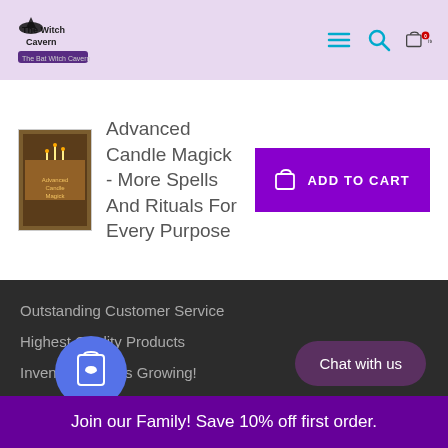The Bat Witch Cavern — 0 item(s)
Advanced Candle Magick - More Spells And Rituals For Every Purpose
[Figure (other): Add to Cart button with shopping bag icon]
Outstanding Customer Service
Highest Quality Products
Inventory Always Growing!
The Bat Witch Cavern. © 2020. All Rights Reserved
WORKING DAYS/HOURS
TU... / 11:00AM - 8:00PM
Chat with us
Join our Family! Save 10% off first order.